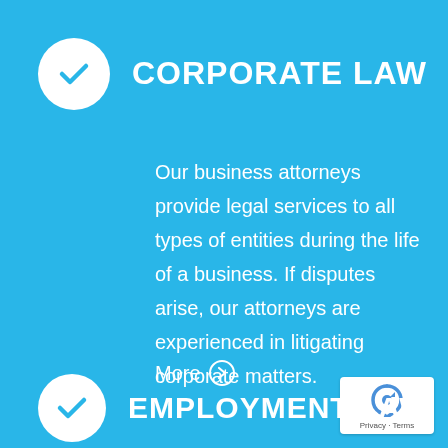CORPORATE LAW
Our business attorneys provide legal services to all types of entities during the life of a business. If disputes arise, our attorneys are experienced in litigating corporate matters.
More ➔
EMPLOYMENT LAW